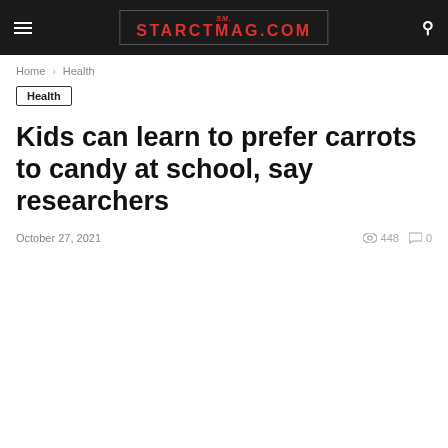STARCTMAG.COM
Home › Health
Health
Kids can learn to prefer carrots to candy at school, say researchers
October 27, 2021  448  0